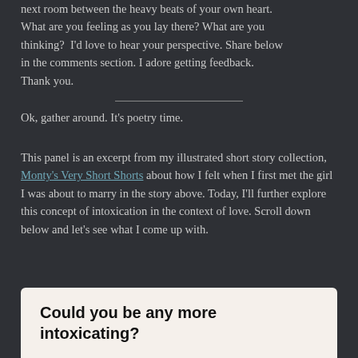next room between the heavy beats of your own heart. What are you feeling as you lay there? What are you thinking?  I'd love to hear your perspective. Share below in the comments section. I adore getting feedback. Thank you.
Ok, gather around. It's poetry time.
This panel is an excerpt from my illustrated short story collection, Monty's Very Short Shorts about how I felt when I first met the girl I was about to marry in the story above. Today, I'll further explore this concept of intoxication in the context of love. Scroll down below and let's see what I come up with.
Could you be any more intoxicating?